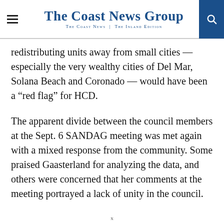The Coast News Group — The Coast News | The Inland Edition
redistributing units away from small cities — especially the very wealthy cities of Del Mar, Solana Beach and Coronado — would have been a “red flag” for HCD.
The apparent divide between the council members at the Sept. 6 SANDAG meeting was met again with a mixed response from the community. Some praised Gaasterland for analyzing the data, and others were concerned that her comments at the meeting portrayed a lack of unity in the council.
x